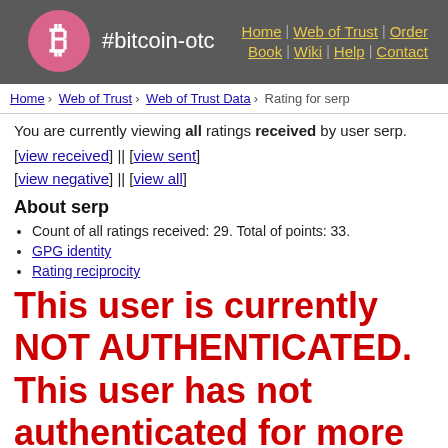#bitcoin-otc | Home | Web of Trust | Order Book | Wiki | Help | Contact
Home › Web of Trust › Web of Trust Data › Rating for serp
You are currently viewing all ratings received by user serp.
[view received] || [view sent]
[view negative] || [view all]
About serp
Count of all ratings received: 29. Total of points: 33.
GPG identity
Rating reciprocity
This user is currently NOT AUTHENTICATED. This user has not authenticated for more than 2285 days. If you are currently